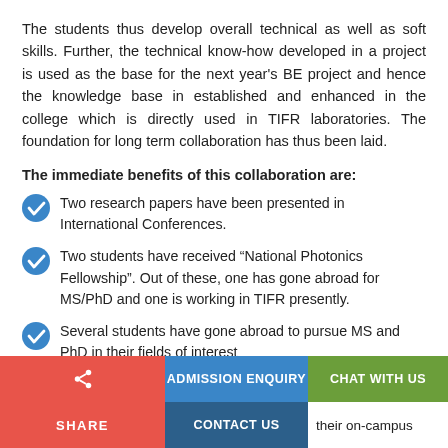The students thus develop overall technical as well as soft skills. Further, the technical know-how developed in a project is used as the base for the next year’s BE project and hence the knowledge base in established and enhanced in the college which is directly used in TIFR laboratories. The foundation for long term collaboration has thus been laid.
The immediate benefits of this collaboration are:
Two research papers have been presented in International Conferences.
Two students have received “National Photonics Fellowship”. Out of these, one has gone abroad for MS/PhD and one is working in TIFR presently.
Several students have gone abroad to pursue MS and PhD in their fields of interest
SHARE | ADMISSION ENQUIRY | CHAT WITH US | CONTACT US | their on-campus | placement acti...